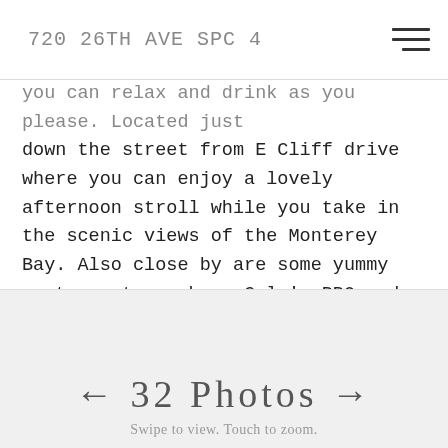720 26TH AVE SPC 4
you can relax and drink as you please. Located just down the street from E Cliff drive where you can enjoy a lovely afternoon stroll while you take in the scenic views of the Monterey Bay. Also close by are some yummy restaurants such as Cole's BBQ and Cat & Cloud Coffee to name a small few. If you have felt the beach life calling your name then this is your opportunity to live the coveted coastal lifestyle that only exists in Santa Cruz.
← 32 PHOTOS →
Swipe to view. Touch to zoom.